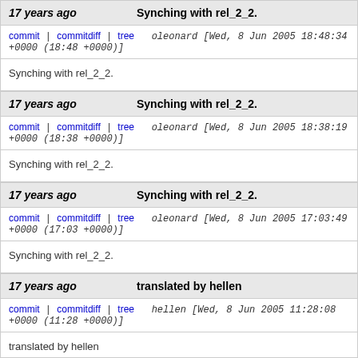17 years ago | Synching with rel_2_2. | commit | commitdiff | tree | oleonard [Wed, 8 Jun 2005 18:48:34 +0000 (18:48 +0000)]
Synching with rel_2_2.
17 years ago | Synching with rel_2_2. | commit | commitdiff | tree | oleonard [Wed, 8 Jun 2005 18:38:19 +0000 (18:38 +0000)]
Synching with rel_2_2.
17 years ago | Synching with rel_2_2. | commit | commitdiff | tree | oleonard [Wed, 8 Jun 2005 17:03:49 +0000 (17:03 +0000)]
Synching with rel_2_2.
17 years ago | translated by hellen | commit | commitdiff | tree | hellen [Wed, 8 Jun 2005 11:28:08 +0000 (11:28 +0000)]
translated by hellen